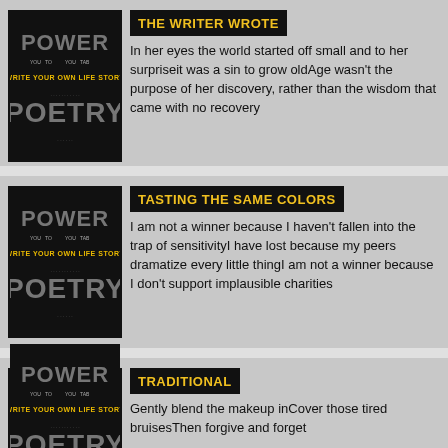[Figure (illustration): Power Poetry logo on black background with text 'Write Your Own Life Story']
THE WRITER WROTE
In her eyes the world started off small and to her surpriseit was a sin to grow oldAge wasn't the purpose of her discovery, rather than the wisdom that came with no recovery
[Figure (illustration): Power Poetry logo on black background with text 'Write Your Own Life Story']
TASTING THE SAME COLORS
I am not a winner because I haven't fallen into the trap of sensitivityI have lost because my peers dramatize every little thingI am not a winner because I don't support implausible charities
[Figure (illustration): Power Poetry logo on black background with text 'Write Your Own Life Story']
TRADITIONAL
Gently blend the makeup inCover those tired bruisesThen forgive and forget